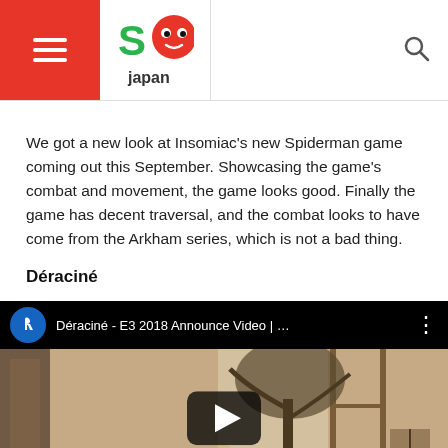So Japan
We got a new look at Insomiac's new Spiderman game coming out this September. Showcasing the game's combat and movement, the game looks good. Finally the game has decent traversal, and the combat looks to have come from the Arkham series, which is not a bad thing.
Déraciné
[Figure (screenshot): YouTube video embed showing Déraciné - E3 2018 Announce Video with a sepia-toned scene of a girl with long hair sitting at a table, with a tree visible through a window. A large play button is centered on the video.]